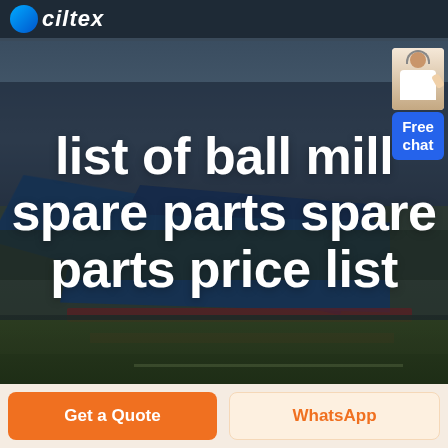[Figure (screenshot): Website header with Ciltex logo (blue circle + italic text) on dark navy background bar, followed by an aerial photograph of large blue-roofed industrial warehouse/factory buildings with surrounding land, overlaid with a dark semi-transparent layer. A 'Free chat' widget appears in the top-right corner showing a person with headset and a blue button labeled 'Free chat'.]
list of ball mill spare parts spare parts price list
Get a Quote
WhatsApp